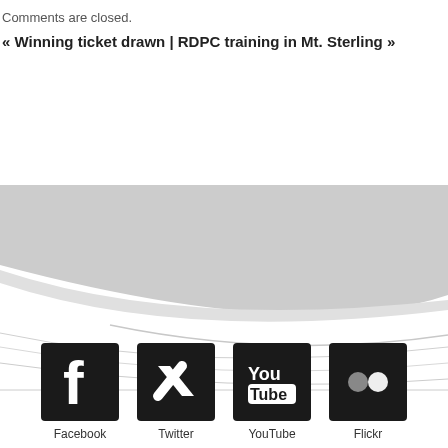Comments are closed.
« Winning ticket drawn | RDPC training in Mt. Sterling »
[Figure (illustration): Decorative swooping wave graphic with grey and white curved shapes forming a layered banner design]
[Figure (infographic): Social media icons for Facebook, Twitter, YouTube, and Flickr with labels below each icon]